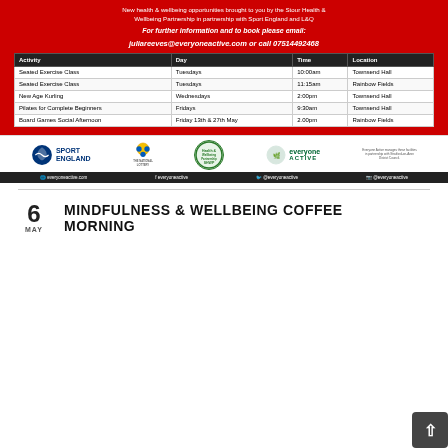New health & wellbeing opportunities brought to you by the Stour Health & Wellbeing Partnership in partnership with Sport England and L&Q
For further information and to book please email:
juliareeves@everyoneactive.com or call 07514492468
| Activity | Day | Time | Location |
| --- | --- | --- | --- |
| Seated Exercise Class | Tuesdays | 10:00am | Townsend Hall |
| Seated Exercise Class | Tuesdays | 11:15am | Rainbow Fields |
| New Age Kurling | Wednesdays | 2:00pm | Townsend Hall |
| Pilates for Complete Beginners | Fridays | 9:30am | Townsend Hall |
| Board Games Social Afternoon | Friday 13th & 27th May | 2.00pm | Rainbow Fields |
[Figure (logo): Sport England, National Lottery, SHWP, and Everyone Active logos]
everyoneactive.com   everyoneactive   @everyoneactive   @everyoneactive
MINDFULNESS & WELLBEING COFFEE MORNING
6 MAY